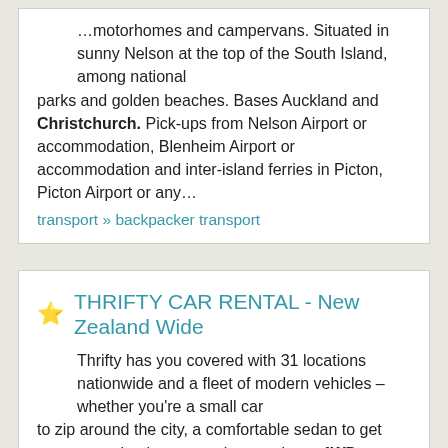…motorhomes and campervans. Situated in sunny Nelson at the top of the South Island, among national parks and golden beaches. Bases Auckland and Christchurch. Pick-ups from Nelson Airport or accommodation, Blenheim Airport or accommodation and inter-island ferries in Picton, Picton Airport or any…
transport » backpacker transport
THRIFTY CAR RENTAL - New Zealand Wide
Thrifty has you covered with 31 locations nationwide and a fleet of modern vehicles – whether you're a small car to zip around the city, a comfortable sedan to get you to your business meeting or a large 4WD to get your family up the mountain in style. Sign up to join Blue Chip and save 15%.
transport » rental cars » mid range rental cars